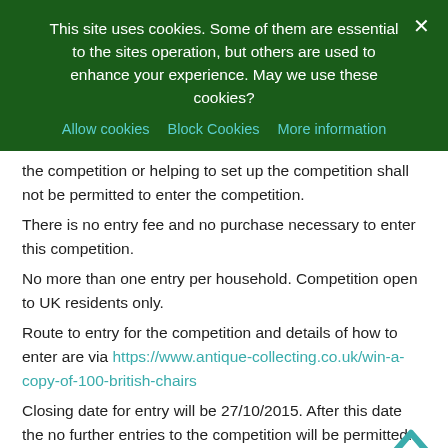This site uses cookies. Some of them are essential to the sites operation, but others are used to enhance your experience. May we use these cookies?
Allow cookies  Block Cookies  More information
the competition or helping to set up the competition shall not be permitted to enter the competition.
There is no entry fee and no purchase necessary to enter this competition.
No more than one entry per household. Competition open to UK residents only.
Route to entry for the competition and details of how to enter are via https://www.antique-collecting.co.uk/win-a-copy-of-100-british-chairs
Closing date for entry will be 27/10/2015. After this date the no further entries to the competition will be permitted.
No responsibility can be accepted for entries not